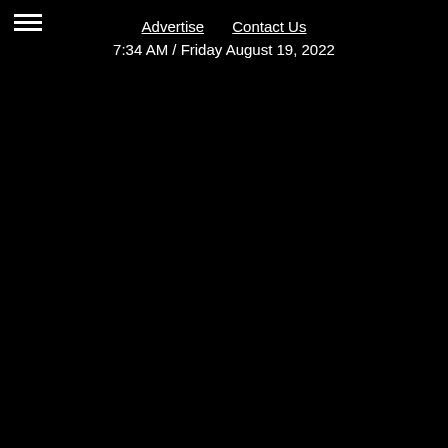Advertise   Contact Us
7:34 AM / Friday August 19, 2022